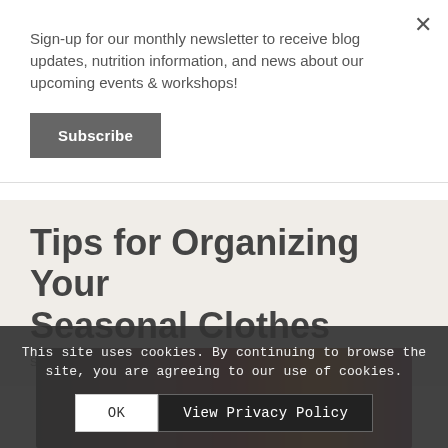Sign-up for our monthly newsletter to receive blog updates, nutrition information, and news about our upcoming events & workshops!
Subscribe
Tips for Organizing Your Seasonal Clothes
SIMPLIFY
[Figure (photo): Photo of colorful seasonal clothing including red, maroon, gold and purple knitted items]
This site uses cookies. By continuing to browse the site, you are agreeing to our use of cookies.
OK
View Privacy Policy